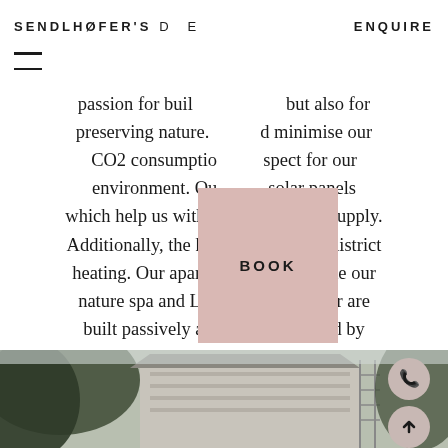SENDLHOFER'S D E   ENQUIRE
passion for buil... but also for preserving nature. ...d minimise our CO2 consumptio... spect for our environment. Ou... solar panels which help us with the warm water supply. Additionally, the hotel is heated by district heating. Our apartment building, like our nature spa and Luke's Wohnzimmer are built passively and are fully heated by geothermal energy.
[Figure (photo): Exterior view of a hotel/apartment building surrounded by trees, photographed in muted tones]